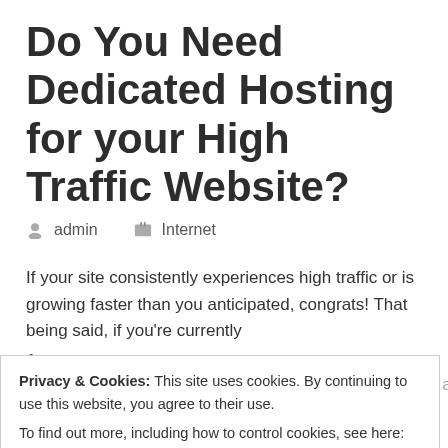Do You Need Dedicated Hosting for your High Traffic Website?
admin   Internet
If your site consistently experiences high traffic or is growing faster than you anticipated, congrats! That being said, if you're currently on a shared hosting plan, you've probably experienced a lot of f... W... Purchasing a dedicated server means that you'll have private access to your own private machine... that server's resources are dedicated solely to your site, which is
Privacy & Cookies: This site uses cookies. By continuing to use this website, you agree to their use.
To find out more, including how to control cookies, see here: Privacy Policy
[Close and accept]